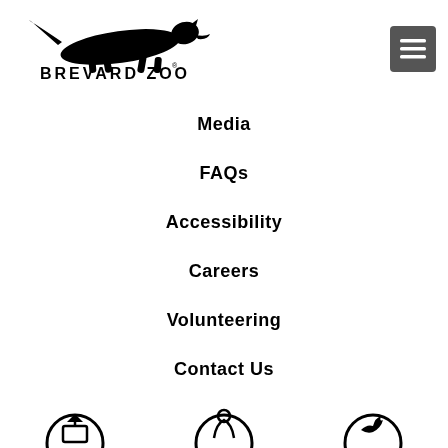[Figure (logo): Brevard Zoo logo with running cheetah silhouette above the text BREVARD ZOO]
[Figure (other): Dark grey hamburger menu button icon (three horizontal lines) in a rounded square]
Media
FAQs
Accessibility
Careers
Volunteering
Contact Us
[Figure (illustration): Three partial circle icons at the bottom of the page (cropped), appearing to be social media or navigation icons with circular borders]